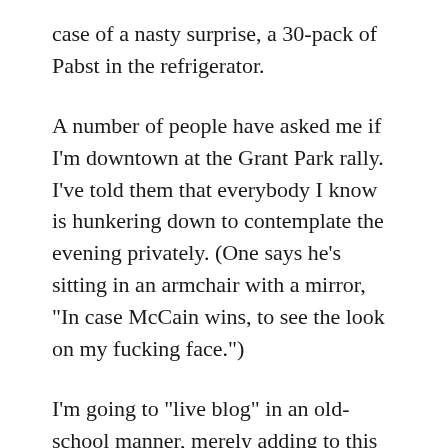case of a nasty surprise, a 30-pack of Pabst in the refrigerator.
A number of people have asked me if I'm downtown at the Grant Park rally. I've told them that everybody I know is hunkering down to contemplate the evening privately. (One says he's sitting in an armchair with a mirror, "In case McCain wins, to see the look on my fucking face.")
I'm going to "live blog" in an old-school manner, merely adding to this entry every time the spirit moves me.
We'll see how it goes.